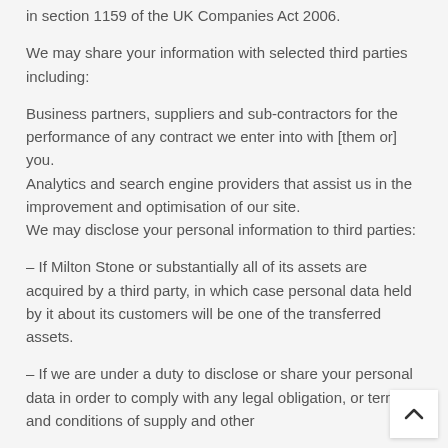in section 1159 of the UK Companies Act 2006.
We may share your information with selected third parties including:
Business partners, suppliers and sub-contractors for the performance of any contract we enter into with [them or] you.
Analytics and search engine providers that assist us in the improvement and optimisation of our site.
We may disclose your personal information to third parties:
– If Milton Stone or substantially all of its assets are acquired by a third party, in which case personal data held by it about its customers will be one of the transferred assets.
– If we are under a duty to disclose or share your personal data in order to comply with any legal obligation, or terms and conditions of supply and other